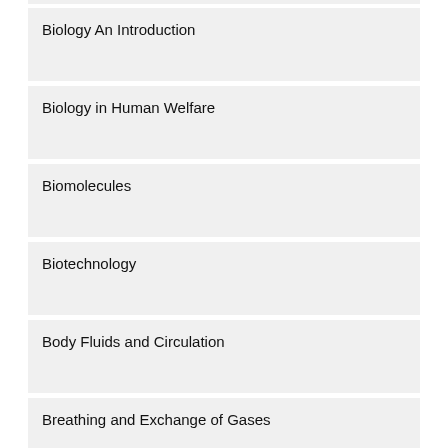Biology An Introduction
Biology in Human Welfare
Biomolecules
Biotechnology
Body Fluids and Circulation
Breathing and Exchange of Gases
Cell
Cell- Structure and Function
We use cookies on our website to give you the most relevant experience by remembering your preferences and repeat visits. By clicking “Accept”, you consent to the use of ALL the cookies.
Do not sell my personal information.
[Figure (advertisement): Ad banner: Red Flag Signs of Multiple Sclerosis (MS) Many May Not Be... MS | Search Ads | Sponsored, with illustration of person stretching in blue shirt]